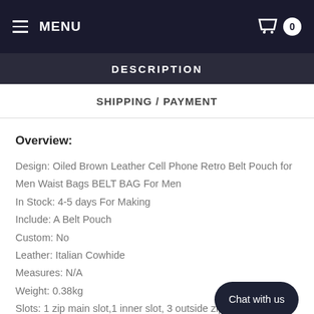MENU | 0
DESCRIPTION
SHIPPING / PAYMENT
Overview:
Design: Oiled Brown Leather Cell Phone Retro Belt Pouch for Men Waist Bags BELT BAG For Men
In Stock: 4-5 days For Making
Include: A Belt Pouch
Custom: No
Leather: Italian Cowhide
Measures: N/A
Weight: 0.38kg
Slots: 1 zip main slot,1 inner slot, 3 outside zip slots
Chat with us